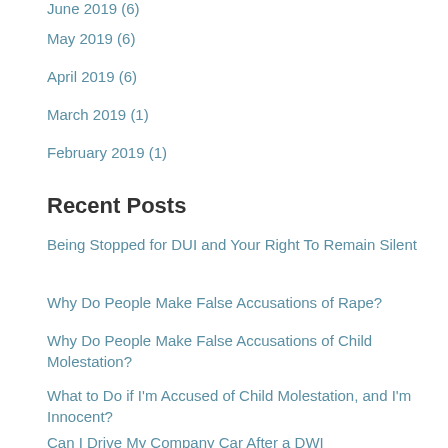June 2019 (6)
May 2019 (6)
April 2019 (6)
March 2019 (1)
February 2019 (1)
Recent Posts
Being Stopped for DUI and Your Right To Remain Silent
Why Do People Make False Accusations of Rape?
Why Do People Make False Accusations of Child Molestation?
What to Do if I'm Accused of Child Molestation, and I'm Innocent?
Can I Drive My Company Car After a DWI